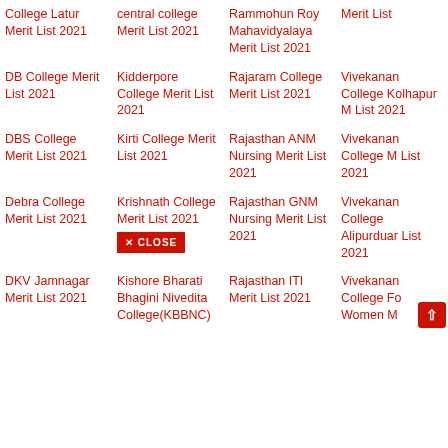College Latur Merit List 2021
central college Merit List 2021
Rammohun Roy Mahavidyalaya Merit List 2021
Merit List
DB College Merit List 2021
Kidderpore College Merit List 2021
Rajaram College Merit List 2021
Vivekananda College Kolhapur Merit List 2021
DBS College Merit List 2021
Kirti College Merit List 2021
Rajasthan ANM Nursing Merit List 2021
Vivekananda College Merit List 2021
Debra College Merit List 2021
Krishnath College Merit List 2021
Rajasthan GNM Nursing Merit List 2021
Vivekananda College Alipurduar Merit List 2021
DKV Jamnagar Merit List 2021
Kishore Bharati Bhagini Nivedita College(KBBNC)
Rajasthan ITI Merit List 2021
Vivekananda College For Women Merit List